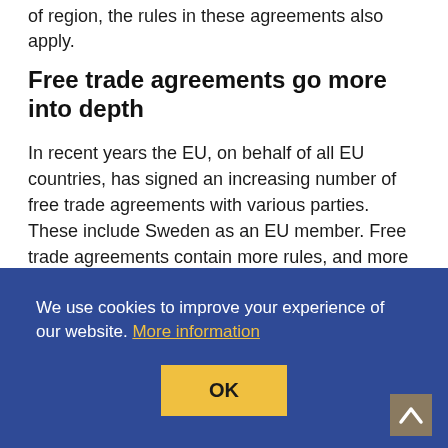of region, the rules in these agreements also apply.
Free trade agreements go more into depth
In recent years the EU, on behalf of all EU countries, has signed an increasing number of free trade agreements with various parties. These include Sweden as an EU member. Free trade agreements contain more rules, and more in-depth rules, than the general trade rules found in the WTO agreements. Free trade agreements contain rules on customs duties, but also on public procurement, intellectual property rights,
sustainability, including food safety and food standards
We use cookies to improve your experience of our website. More information
OK